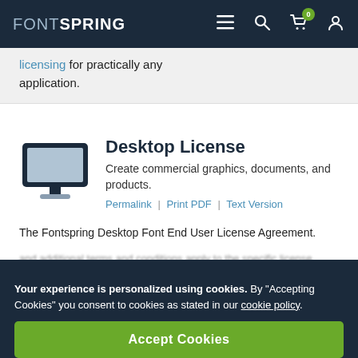FONTSPRING
licensing for practically any application.
Desktop License
Create commercial graphics, documents, and products.
Permalink | Print PDF | Text Version
The Fontspring Desktop Font End User License Agreement.
Your experience is personalized using cookies. By “Accepting Cookies” you consent to cookies as stated in our cookie policy.
Accept Cookies